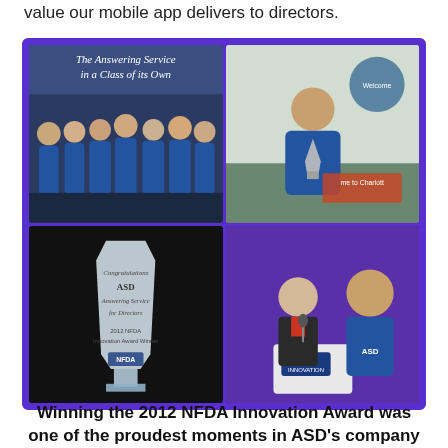value our mobile app delivers to directors.
[Figure (photo): Four-photo collage showing ASD team members in blue jackets at a trade show, a man holding a glass award trophy, the glass trophy engraved with '2012 NFDA Innovation Award Winner' for ASD Answering Service for Directors, and two men on stage at an NFDA event.]
Winning the 2012 NFDA Innovation Award was one of the proudest moments in ASD's company